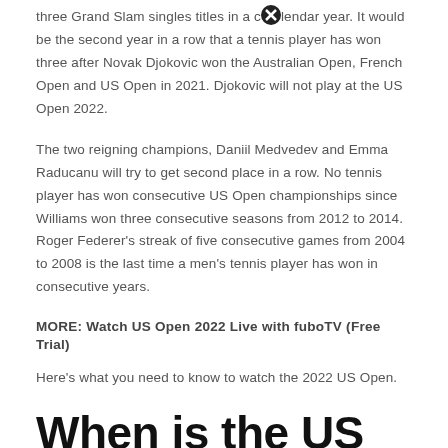three Grand Slam singles titles in a calendar year. It would be the second year in a row that a tennis player has won three after Novak Djokovic won the Australian Open, French Open and US Open in 2021. Djokovic will not play at the US Open 2022.
The two reigning champions, Daniil Medvedev and Emma Raducanu will try to get second place in a row. No tennis player has won consecutive US Open championships since Williams won three consecutive seasons from 2012 to 2014. Roger Federer's streak of five consecutive games from 2004 to 2008 is the last time a men's tennis player has won in consecutive years.
MORE: Watch US Open 2022 Live with fuboTV (Free Trial)
Here's what you need to know to watch the 2022 US Open.
When is the US Open 2022?
The 2022 US Open begins on Monday, August 29 with games starting at